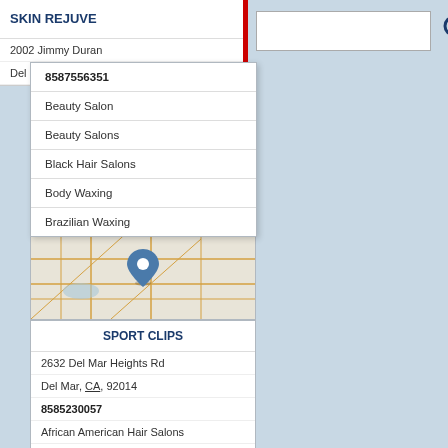SKIN REJUVE
2002 Jimmy Duran
Del Mar, CA, 9201
8587556351
Beauty Salon
Beauty Salons
Black Hair Salons
Body Waxing
Brazilian Waxing
[Figure (map): Street map showing location pin marker for Sport Clips in Del Mar area]
SPORT CLIPS
2632 Del Mar Heights Rd
Del Mar, CA, 92014
8585230057
African American Hair Salons
Barber Shop
Barber Shops
Barbers
Beauty Sal...